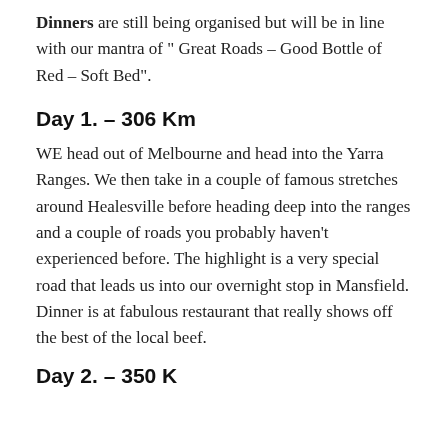Dinners are still being organised but will be in line with our mantra of " Great Roads – Good Bottle of Red – Soft Bed".
Day 1. – 306 Km
WE head out of Melbourne and head into the Yarra Ranges. We then take in a couple of famous stretches around Healesville before heading deep into the ranges and a couple of roads you probably haven't experienced before. The highlight is a very special road that leads us into our overnight stop in Mansfield. Dinner is at fabulous restaurant that really shows off the best of the local beef.
Day 2. – 350 K…